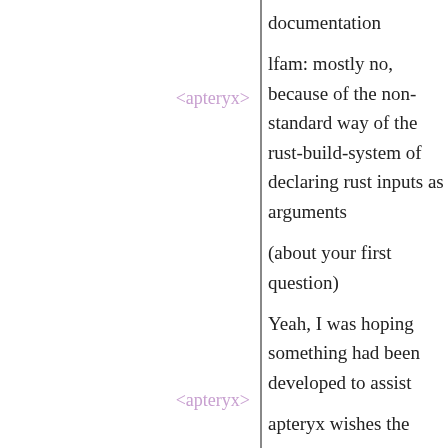documentation
<apteryx>
lfam: mostly no, because of the non-standard way of the rust-build-system of declaring rust inputs as arguments
<apteryx>
(about your first question)
<lfam>
Yeah, I was hoping something had been developed to assist
*
apteryx wishes the rust-build-system could behave like the other